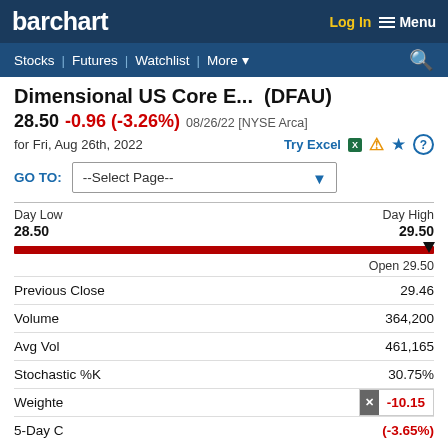barchart | Log In | Menu | Stocks | Futures | Watchlist | More | Search
Dimensional US Core E... (DFAU)
28.50 -0.96 (-3.26%) 08/26/22 [NYSE Arca]
for Fri, Aug 26th, 2022
GO TO: --Select Page--
Day Low 28.50 | Day High 29.50 | Open 29.50
| Metric | Value |
| --- | --- |
| Previous Close | 29.46 |
| Volume | 364,200 |
| Avg Vol | 461,165 |
| Stochastic %K | 30.75% |
| Weighted Alpha | -10.15 |
| 5-Day Change | (-3.65%) |